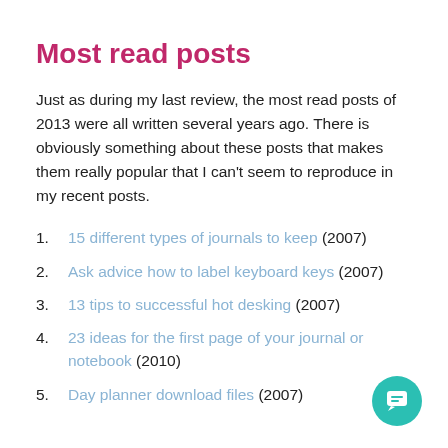Most read posts
Just as during my last review, the most read posts of 2013 were all written several years ago. There is obviously something about these posts that makes them really popular that I can't seem to reproduce in my recent posts.
15 different types of journals to keep (2007)
Ask advice how to label keyboard keys (2007)
13 tips to successful hot desking (2007)
23 ideas for the first page of your journal or notebook (2010)
Day planner download files (2007)